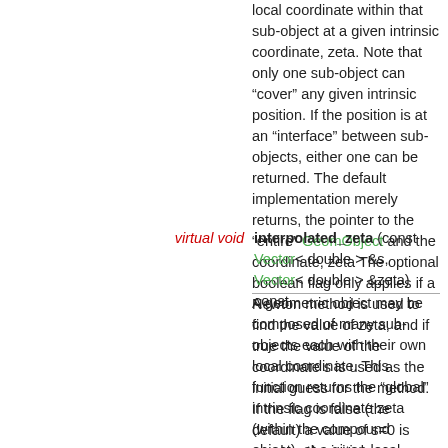local coordinate within that sub-object at a given intrinsic coordinate, zeta. Note that only one sub-object can "cover" any given intrinsic position. If the position is at an "interface" between sub-objects, either one can be returned. The default implementation merely returns, the pointer to the "entire" GeomObject and the coordinate, zeta The optional boolean flag only applies if a Newton method is used to find the value of zeta, and if true the value of the coordinate s is used as the initial guess for the method. If the flag is false (the default) a value of s=0 is used as the initial guess. More...
virtual void
interpolated_zeta (const Vector< double > &s, Vector< double > &zeta) const
A geometric object may be composed of many sub-objects each with their own local coordinate. This function returns the "global" intrinsic coordinate zeta (within the compound object), at a given local coordinate s (i.e. the intrinsic coordinate of the sub-GeomObject. In simple (non-compound) GeomObjects, the local intrinsic coordinate is the global intrinsic coordinate and so the function merely returns s. To make it less likely that the default implementation is